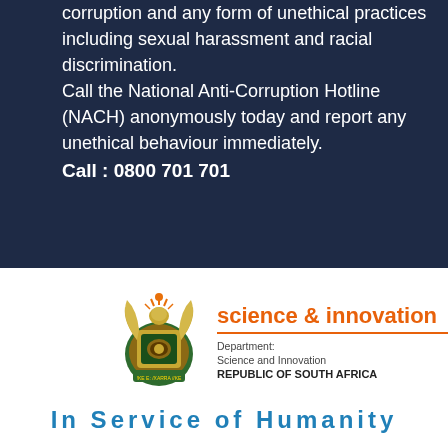corruption and any form of unethical practices including sexual harassment and racial discrimination.
Call the National Anti-Corruption Hotline (NACH) anonymously today and report any unethical behaviour immediately.
Call : 0800 701 701
[Figure (logo): South Africa Department of Science and Innovation logo with coat of arms and text 'science & innovation, Department: Science and Innovation, REPUBLIC OF SOUTH AFRICA']
In Service of Humanity